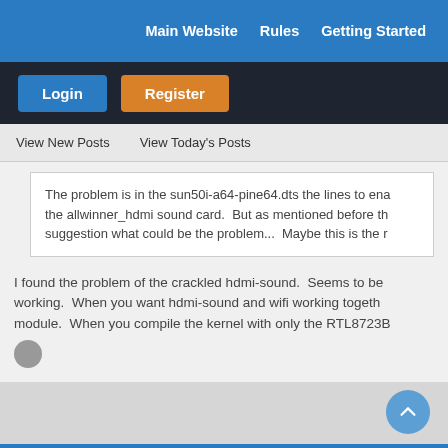Main Website   Rules   Getting Started
Login   Register
View New Posts   View Today's Posts
The problem is in the sun50i-a64-pine64.dts the lines to enable the allwinner_hdmi sound card.  But as mentioned before the suggestion what could be the problem...  Maybe this is the r
I found the problem of the crackled hdmi-sound.  Seems to be working.  When you want hdmi-sound and wifi working together module.  When you compile the kernel with only the RTL8723B